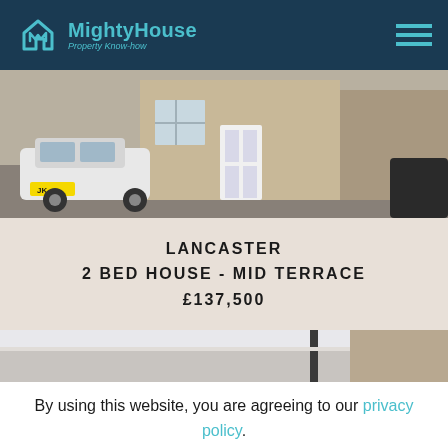MightyHouse Property Know-how
[Figure (photo): Exterior photo of a mid-terrace house in Lancaster with a white car parked outside and stone facade]
LANCASTER
2 BED HOUSE - MID TERRACE
£137,500
[Figure (photo): Partial exterior photo showing roofline and brick wall of a property]
By using this website, you are agreeing to our privacy policy.
Agree